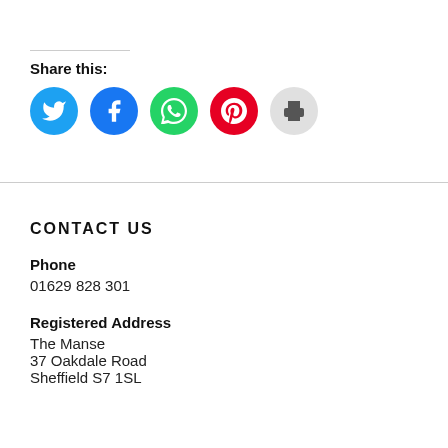Share this:
[Figure (infographic): Five social sharing icons in circles: Twitter (blue), Facebook (dark blue), WhatsApp (green), Pinterest (red), Print (light grey)]
CONTACT US
Phone
01629 828 301
Registered Address
The Manse
37 Oakdale Road
Sheffield S7 1SL